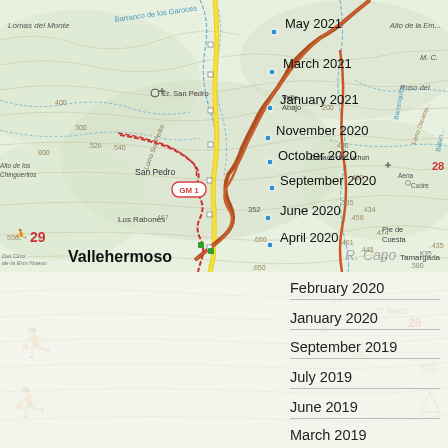[Figure (map): Topographic map of La Gomera showing Vallehermoso area with trail markers, contour lines, place names, and dated waypoints from 2019-2021 overlaid on the map]
May 2021
March 2021
January 2021
November 2020
October 2020
September 2020
June 2020
April 2020
February 2020
January 2020
September 2019
July 2019
June 2019
March 2019